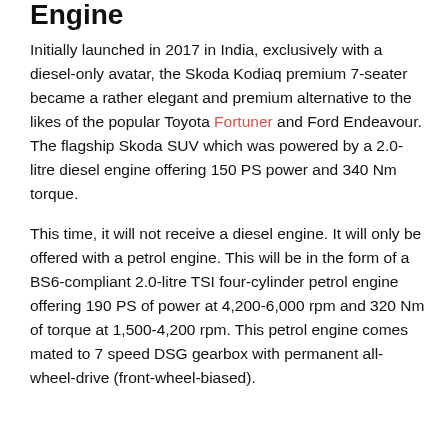Engine
Initially launched in 2017 in India, exclusively with a diesel-only avatar, the Skoda Kodiaq premium 7-seater became a rather elegant and premium alternative to the likes of the popular Toyota Fortuner and Ford Endeavour. The flagship Skoda SUV which was powered by a 2.0-litre diesel engine offering 150 PS power and 340 Nm torque.
This time, it will not receive a diesel engine. It will only be offered with a petrol engine. This will be in the form of a BS6-compliant 2.0-litre TSI four-cylinder petrol engine offering 190 PS of power at 4,200-6,000 rpm and 320 Nm of torque at 1,500-4,200 rpm. This petrol engine comes mated to 7 speed DSG gearbox with permanent all-wheel-drive (front-wheel-biased).